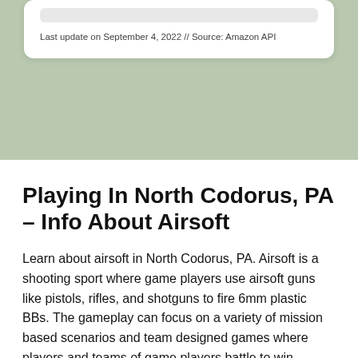Last update on September 4, 2022 // Source: Amazon API
Playing In North Codorus, PA – Info About Airsoft
Learn about airsoft in North Codorus, PA. Airsoft is a shooting sport where game players use airsoft guns like pistols, rifles, and shotguns to fire 6mm plastic BBs. The gameplay can focus on a variety of mission based scenarios and team designed games where players and teams of game players battle to win.